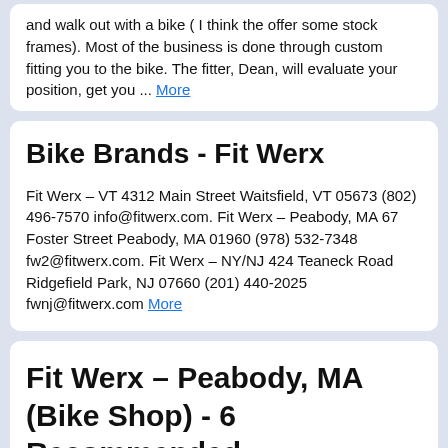and walk out with a bike ( I think the offer some stock frames). Most of the business is done through custom fitting you to the bike. The fitter, Dean, will evaluate your position, get you ... More
Bike Brands - Fit Werx
Fit Werx – VT 4312 Main Street Waitsfield, VT 05673 (802) 496-7570 info@fitwerx.com. Fit Werx – Peabody, MA 67 Foster Street Peabody, MA 01960 (978) 532-7348 fw2@fitwerx.com. Fit Werx – NY/NJ 424 Teaneck Road Ridgefield Park, NJ 07660 (201) 440-2025 fwnj@fitwerx.com More
Fit Werx – Peabody, MA (Bike Shop) - 6 Recommended